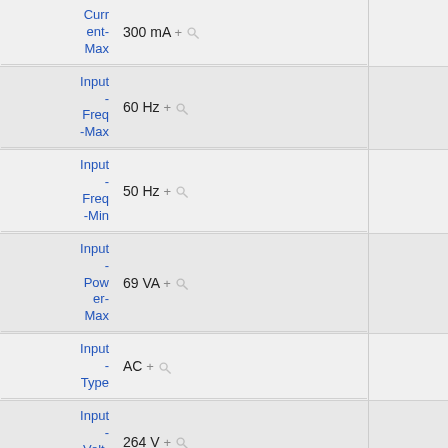| Parameter | Value |
| --- | --- |
| Current-Max | 300 mA |
| Input-Freq-Max | 60 Hz |
| Input-Freq-Min | 50 Hz |
| Input-Power-Max | 69 VA |
| Input-Type | AC |
| Input-Volt-Max | 264 V |